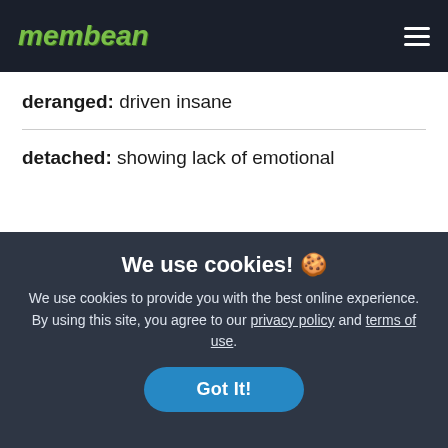membean
deranged: driven insane
detached: showing lack of emotional
We use cookies! 🍪

We use cookies to provide you with the best online experience. By using this site, you agree to our privacy policy and terms of use.